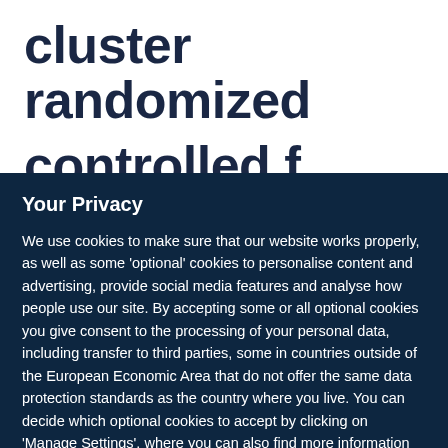cluster randomized
Your Privacy
We use cookies to make sure that our website works properly, as well as some 'optional' cookies to personalise content and advertising, provide social media features and analyse how people use our site. By accepting some or all optional cookies you give consent to the processing of your personal data, including transfer to third parties, some in countries outside of the European Economic Area that do not offer the same data protection standards as the country where you live. You can decide which optional cookies to accept by clicking on 'Manage Settings', where you can also find more information about how your personal data is processed. Further information can be found in our privacy policy.
Accept all cookies
Manage preferences